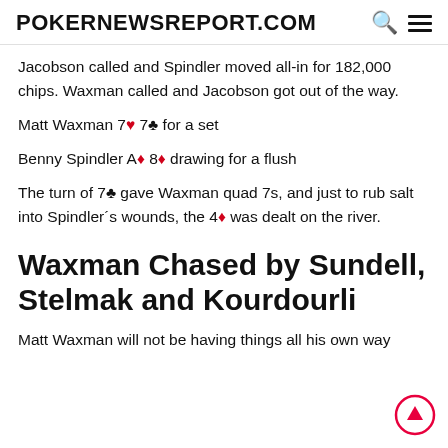POKERNEWSREPORT.COM
Jacobson called and Spindler moved all-in for 182,000 chips. Waxman called and Jacobson got out of the way.
Matt Waxman 7♥ 7♣ for a set
Benny Spindler A♦ 8♦ drawing for a flush
The turn of 7♣ gave Waxman quad 7s, and just to rub salt into Spindler´s wounds, the 4♦ was dealt on the river.
Waxman Chased by Sundell, Stelmak and Kourdourli
Matt Waxman will not be having things all his own way